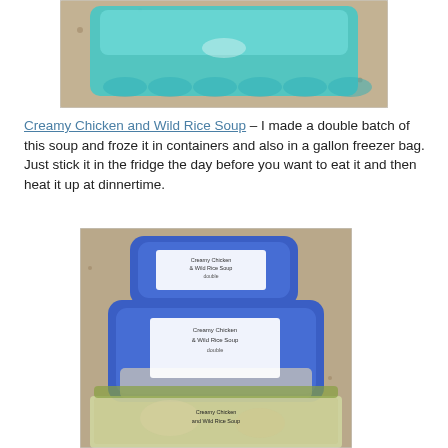[Figure (photo): Photo of a shiny teal/blue metallic insulated bag or foil-lined tray on a granite countertop, viewed from above.]
Creamy Chicken and Wild Rice Soup – I made a double batch of this soup and froze it in containers and also in a gallon freezer bag.  Just stick it in the fridge the day before you want to eat it and then heat it up at dinnertime.
[Figure (photo): Photo of two blue-lidded rectangular plastic containers labeled 'Creamy Chicken & Wild Rice Soup' stacked on a granite countertop, with a gallon zip-top freezer bag labeled 'Creamy Chicken and Wild Rice Soup' visible below them.]